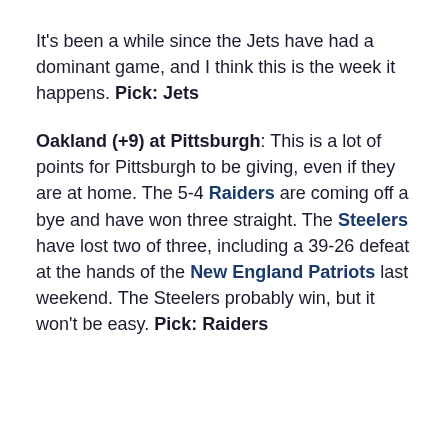It's been a while since the Jets have had a dominant game, and I think this is the week it happens. Pick: Jets
Oakland (+9) at Pittsburgh: This is a lot of points for Pittsburgh to be giving, even if they are at home. The 5-4 Raiders are coming off a bye and have won three straight. The Steelers have lost two of three, including a 39-26 defeat at the hands of the New England Patriots last weekend. The Steelers probably win, but it won't be easy. Pick: Raiders